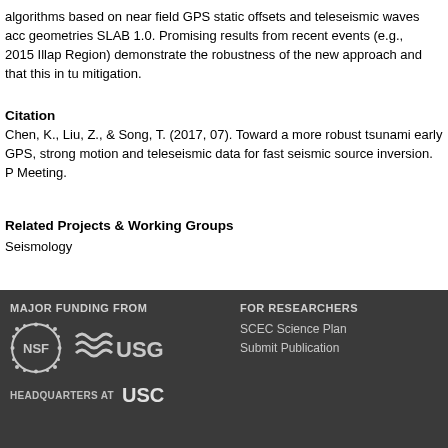algorithms based on near field GPS static offsets and teleseismic waves according to geometries SLAB 1.0. Promising results from recent events (e.g., 2015 Illapel Region) demonstrate the robustness of the new approach and that this in turn mitigation.
Citation
Chen, K., Liu, Z., & Song, T. (2017, 07). Toward a more robust tsunami early GPS, strong motion and teleseismic data for fast seismic source inversion. Meeting.
Related Projects & Working Groups
Seismology
MAJOR FUNDING FROM | FOR RESEARCHERS | SCEC Science Plan | Submit Publication | HEADQUARTERS AT USC